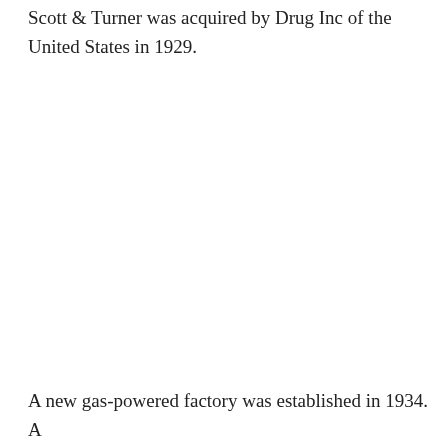Scott & Turner was acquired by Drug Inc of the United States in 1929.
A new gas-powered factory was established in 1934. A